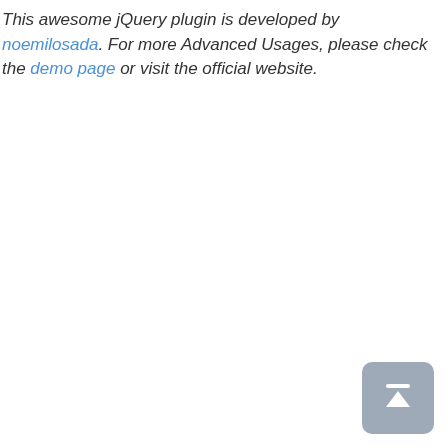This awesome jQuery plugin is developed by noemilosada. For more Advanced Usages, please check the demo page or visit the official website.
[Figure (other): A rounded square button with a grey background containing a white upward arrow icon with a horizontal bar above it, used as a scroll-to-top button.]